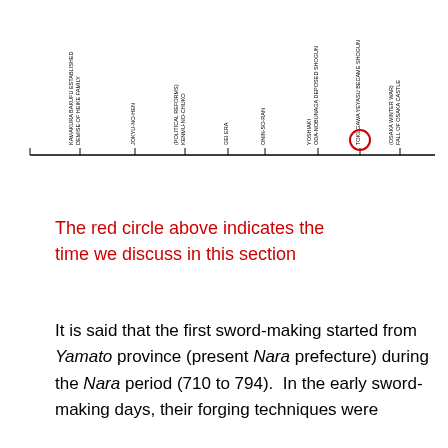[Figure (other): A timeline chart showing Japanese historical periods and events with vertical rotated text labels. Events include: DEMISE OF HEIKE FAMILY KAMAKURA BAKUFU ESTABLISHED, JOKYU-NO-HEN, KENMU-NO-CHUKO (POLITICAL REFORMS), GEI ERA, ONIN-SO-RAN, ODA-NOBUNAGA DEPOSED SHOGUN YOSHIAKI, TOKUGAWA YEYASU BECAME SHOGUN, FALL OF OSAKA CASTLE (OSAKA WINTER WAR). A red circle highlights one of the events on the timeline.]
The red circle above indicates the time we discuss in this section
It is said that the first sword-making started from Yamato province (present Nara prefecture) during the Nara period (710 to 794).  In the early sword-making days, their forging techniques were